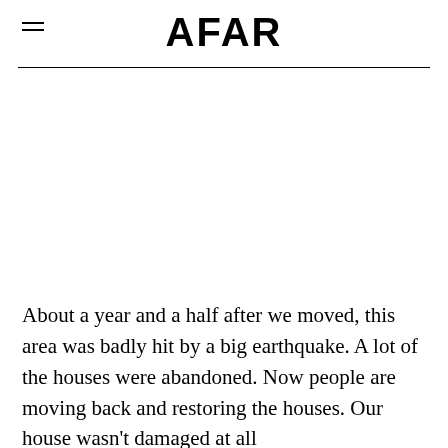AFAR
About a year and a half after we moved, this area was badly hit by a big earthquake. A lot of the houses were abandoned. Now people are moving back and restoring the houses. Our house wasn't damaged at all